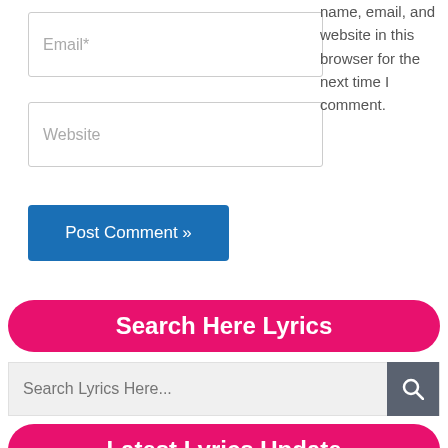[Figure (screenshot): Email input field with placeholder text 'Email*']
[Figure (screenshot): Website input field with placeholder text 'Website']
name, email, and website in this browser for the next time I comment.
[Figure (screenshot): Blue 'Post Comment »' button]
Search Here Lyrics
[Figure (screenshot): Search bar with placeholder 'Search Lyrics Here...' and a search button]
Latest Lyrics Update
Lahoriya Nirvair Pannu Song Lyrics